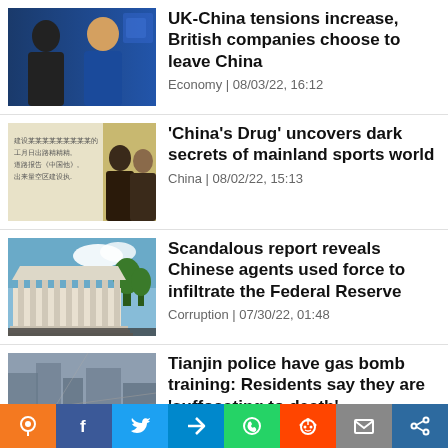[Figure (photo): Two people in discussion, one in dark jacket, one in blue jacket, against a blue background]
UK-China tensions increase, British companies choose to leave China
Economy | 08/03/22, 16:12
[Figure (photo): Chinese text document with people in background]
'China’s Drug' uncovers dark secrets of mainland sports world
China | 08/02/22, 15:13
[Figure (photo): Federal Reserve building with blue sky and trees]
Scandalous report reveals Chinese agents used force to infiltrate the Federal Reserve
Corruption | 07/30/22, 01:48
[Figure (photo): Misty/smoky urban scene with buildings]
Tianjin police have gas bomb training: Residents say they are ‘suffocating to death’
Disasters | 07/29/22, 19:00